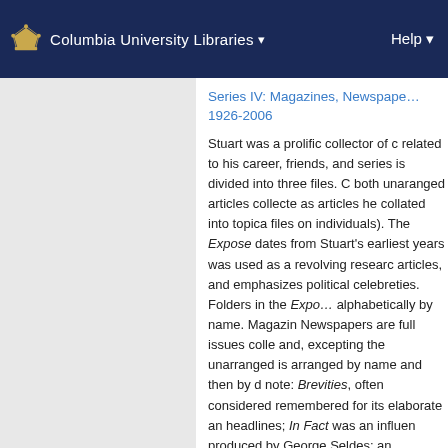Columbia University Libraries  Help
Series IV: Magazines, Newspapers, 1926-2006
Stuart was a prolific collector of clippings related to his career, friends, and series is divided into three files. both unaranged articles collected as articles he collated into topical files on individuals). The Expose dates from Stuart's earliest years was used as a revolving research articles, and emphasizes political celebreties. Folders in the Expose alphabetically by name. Magazines Newspapers are full issues collected and, excepting the unarranged is arranged by name and then by date note: Brevities, often considered remembered for its elaborate and headlines; In Fact was an influential produced by George Seldes; and